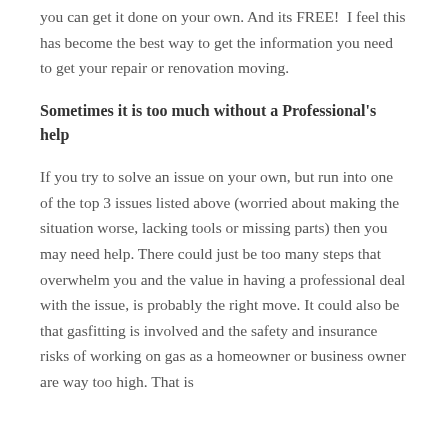you can get it done on your own. And its FREE!  I feel this has become the best way to get the information you need to get your repair or renovation moving.
Sometimes it is too much without a Professional's help
If you try to solve an issue on your own, but run into one of the top 3 issues listed above (worried about making the situation worse, lacking tools or missing parts) then you may need help. There could just be too many steps that overwhelm you and the value in having a professional deal with the issue, is probably the right move. It could also be that gasfitting is involved and the safety and insurance risks of working on gas as a homeowner or business owner are way too high. That is